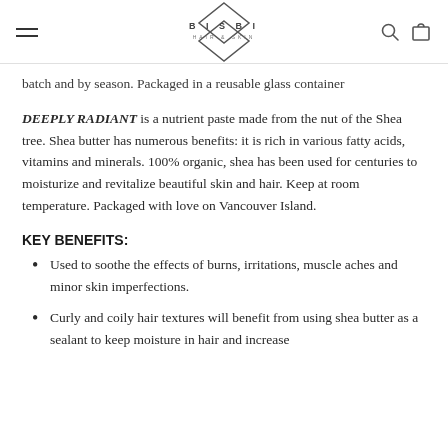BISBI HAIR & SKIN — navigation header with hamburger menu, logo, search and cart icons
batch and by season. Packaged in a reusable glass container
DEEPLY RADIANT is a nutrient paste made from the nut of the Shea tree. Shea butter has numerous benefits: it is rich in various fatty acids, vitamins and minerals. 100% organic, shea has been used for centuries to moisturize and revitalize beautiful skin and hair. Keep at room temperature. Packaged with love on Vancouver Island.
KEY BENEFITS:
Used to soothe the effects of burns, irritations, muscle aches and minor skin imperfections.
Curly and coily hair textures will benefit from using shea butter as a sealant to keep moisture in hair and increase